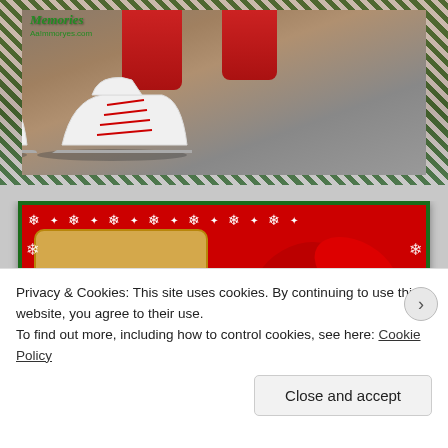[Figure (photo): Christmas-themed photo of white ice skates with red laces, decorated with a green and white diagonal-stripe candy cane border frame. A logo/watermark reads 'Memories' in cursive green text at the top left.]
[Figure (photo): Christmas-themed banner image with red background, green border, white snowflakes, a tan/parchment card reading 'Gifts are Great' in italic dark brown text, and red poinsettia flowers on the right side.]
Privacy & Cookies: This site uses cookies. By continuing to use this website, you agree to their use.
To find out more, including how to control cookies, see here: Cookie Policy
Close and accept